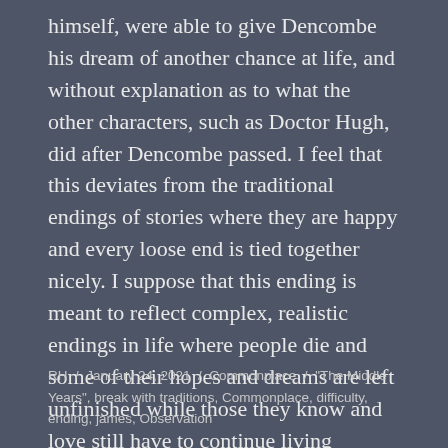himself, were able to give Dencombe his dream of another chance at life, and without explanation as to what the other characters, such as Doctor Hugh, did after Dencombe passed. I feel that this deviates from the traditional endings of stories where they are happy and every loose end is tied together nicely. I suppose that this ending is meant to reflect complex, realistic endings in life where people die and some of their hopes and dreams are left unfinished while those they know and love still have to continue living without them, surrounded by their unfinished projects.
RH / January 24, 2021 / Commonplace / "The Middle Years", break with traditions, Commonplace, difficulty, ending, james, Observation